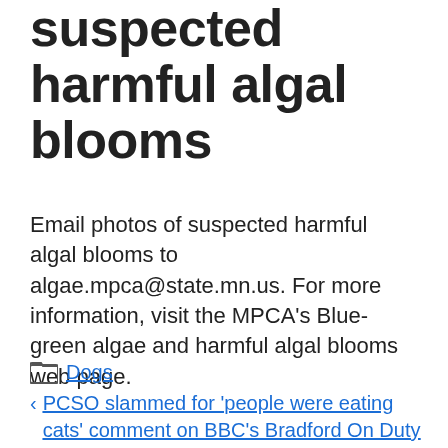suspected harmful algal blooms
Email photos of suspected harmful algal blooms to algae.mpca@state.mn.us. For more information, visit the MPCA's Blue-green algae and harmful algal blooms web page.
Dogs
PCSO slammed for 'people were eating cats' comment on BBC's Bradford On Duty
Either a bird went on vacation or scientists need a tourist to return their equipment